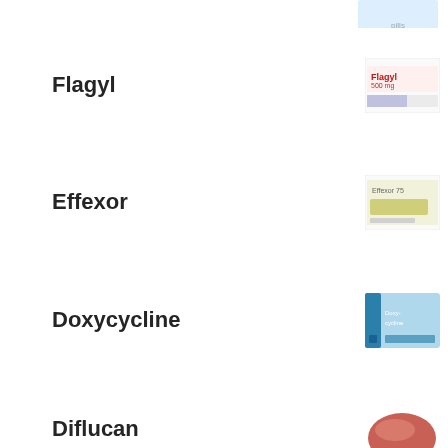Flagyl
Effexor
Doxycycline
Diflucan
Diclofenac
Cymbalta
Clomid
Cipro